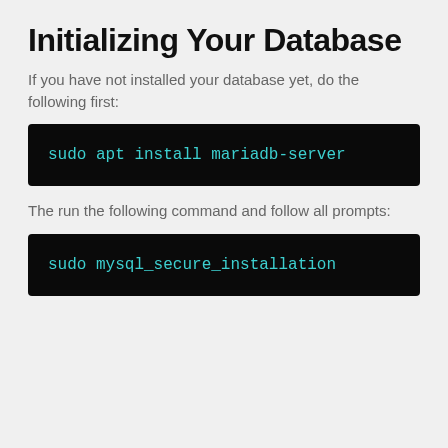Initializing Your Database
If you have not installed your database yet, do the following first:
[Figure (screenshot): Black terminal code block showing: sudo apt install mariadb-server]
The run the following command and follow all prompts:
[Figure (screenshot): Black terminal code block showing: sudo mysql_secure_installation]